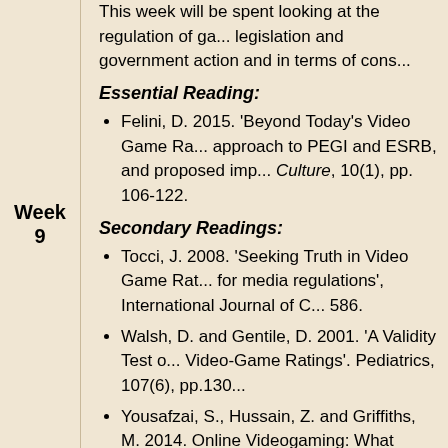This week will be spent looking at the regulation of games in terms of legislation and government action and in terms of cons...
Essential Reading:
Felini, D. 2015. 'Beyond Today's Video Game Ra... approach to PEGI and ESRB, and proposed imp... Culture, 10(1), pp. 106-122.
Secondary Readings:
Tocci, J. 2008. 'Seeking Truth in Video Game Rat... for media regulations', International Journal of C... 586.
Walsh, D. and Gentile, D. 2001. 'A Validity Test o... Video-Game Ratings'. Pediatrics, 107(6), pp.130...
Yousafzai, S., Hussain, Z. and Griffiths, M. 2014. Online Videogaming: What should the videogam... Research and Theory 22(3), pp. 181-5.
Burns, R. C. and Lau, T. Y. 'Censorship, Governm... Industry. In Zotto, C.D. 2005. Growth and Dyna... Companies. Jönköping International Business Sc...
Week 9